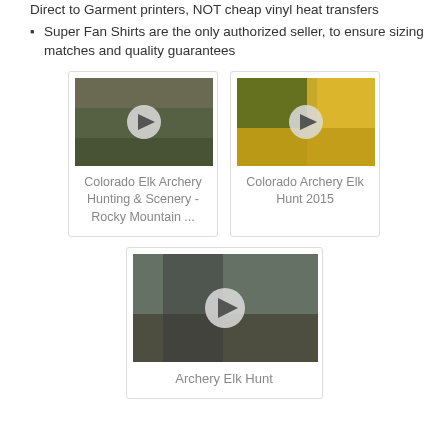Direct to Garment printers, NOT cheap vinyl heat transfers
Super Fan Shirts are the only authorized seller, to ensure sizing matches and quality guarantees
[Figure (screenshot): Video thumbnail for Colorado Elk Archery Hunting & Scenery - Rocky Mountain ... with play button overlay]
Colorado Elk Archery Hunting & Scenery - Rocky Mountain ...
[Figure (screenshot): Video thumbnail for Colorado Archery Elk Hunt 2015 with play button overlay]
Colorado Archery Elk Hunt 2015
[Figure (screenshot): Video thumbnail for Archery Elk Hunt with play button overlay]
Archery Elk Hunt